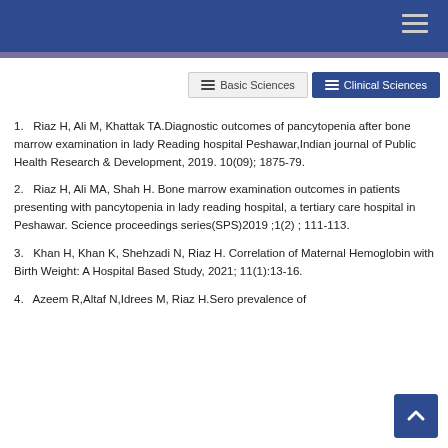Basic Sciences   Clinical Sciences
1.   Riaz H, Ali M, Khattak TA.Diagnostic outcomes of pancytopenia after bone marrow examination in lady Reading hospital Peshawar,Indian journal of Public Health Research & Development, 2019. 10(09); 1875-79.
2.   Riaz H, Ali MA, Shah H. Bone marrow examination outcomes in patients presenting with pancytopenia in lady reading hospital, a tertiary care hospital in Peshawar. Science proceedings series(SPS)2019 ;1(2) ; 111-113.
3.   Khan H, Khan K, Shehzadi N, Riaz H. Correlation of Maternal Hemoglobin with Birth Weight: A Hospital Based Study, 2021; 11(1):13-16.
4.   Azeem R,Altaf N,Idrees M, Riaz H.Sero prevalence of